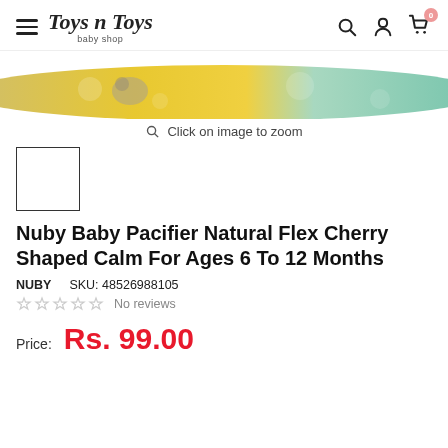Toys n Toys baby shop
[Figure (photo): Product image of Nuby Baby Pacifier with yellow and mint green floral pattern, partially cropped at top of page]
Click on image to zoom
[Figure (photo): Small thumbnail preview box (empty white rectangle with border)]
Nuby Baby Pacifier Natural Flex Cherry Shaped Calm For Ages 6 To 12 Months
NUBY   SKU: 48526988105
★★★★★ No reviews
Price:  Rs. 99.00